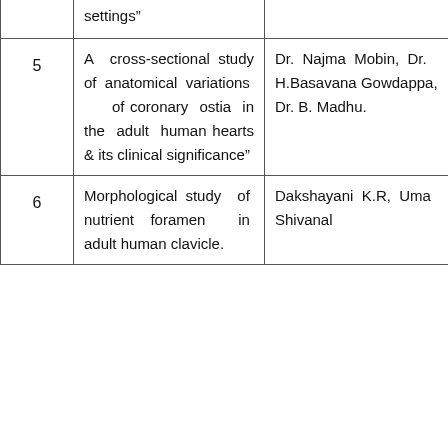| # | Title | Authors |  |
| --- | --- | --- | --- |
|  | settings” |  |  |
| 5 | A cross-sectional study of anatomical variations of coronary ostia in the adult human hearts & its clinical significance" | Dr. Najma Mobin, Dr. H.Basavana Gowdappa, Dr. B. Madhu. | Jo an re |
| 6 | Morphological study of nutrient foramen in adult human clavicle. | Dakshayani K.R, Uma Shivanal | A R |